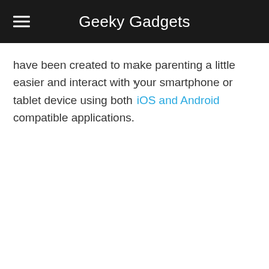Geeky Gadgets
have been created to make parenting a little easier and interact with your smartphone or tablet device using both iOS and Android compatible applications.